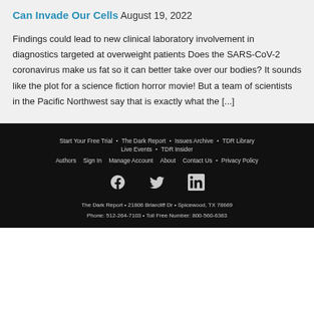Can Invade Our Cells August 19, 2022
Findings could lead to new clinical laboratory involvement in diagnostics targeted at overweight patients Does the SARS-CoV-2 coronavirus make us fat so it can better take over our bodies? It sounds like the plot for a science fiction horror movie! But a team of scientists in the Pacific Northwest say that is exactly what the [...]
Start Your Free Trial  The Dark Report  Issues Archive  TDR Library  Live Events  TDR Insider  Authors  Sign In  Manage Account  About  Contact Us  Privacy Policy  The Dark Report • 21806 Briarcliff Dr • Spicewood, TX 78669  Phone: 512-264-7103 • Toll Free Number: 800-560-6363